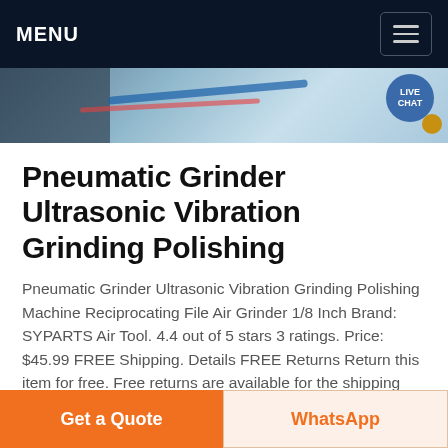MENU
[Figure (photo): Banner image showing a workshop/industrial floor with colored cables and machinery. Has a circular 'LIVE CHAT' badge on the right side.]
Pneumatic Grinder Ultrasonic Vibration Grinding Polishing
Pneumatic Grinder Ultrasonic Vibration Grinding Polishing Machine Reciprocating File Air Grinder 1/8 Inch Brand: SYPARTS Air Tool. 4.4 out of 5 stars 3 ratings. Price: $45.99 FREE Shipping. Details FREE Returns Return this item for free. Free returns are available for the shipping address you chose. You can return the item for any reason in
Get a Quote
WhatsApp